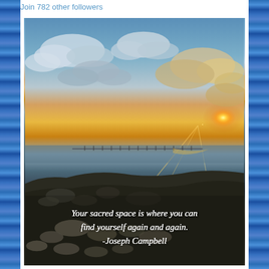Join 782 other followers
[Figure (photo): Sunset over water with rocky coastline in foreground. Sun setting on the right side with golden rays. Scattered clouds in a blue-orange sky. A bridge or pier visible in the far distance on the horizon. Quote text overlaid at bottom: 'Your sacred space is where you can find yourself again and again. -Joseph Campbell']
Your sacred space is where you can find yourself again and again. -Joseph Campbell